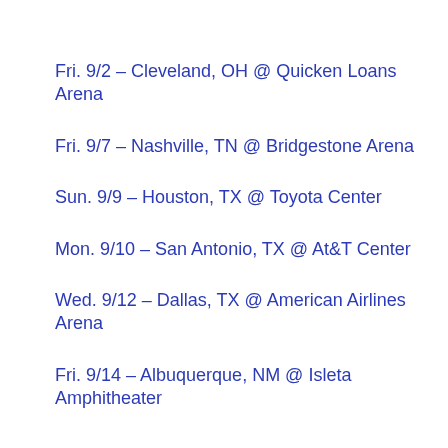Fri. 9/2 – Cleveland, OH @ Quicken Loans Arena
Fri. 9/7 – Nashville, TN @ Bridgestone Arena
Sun. 9/9 – Houston, TX @ Toyota Center
Mon. 9/10 – San Antonio, TX @ At&T Center
Wed. 9/12 – Dallas, TX @ American Airlines Arena
Fri. 9/14 – Albuquerque, NM @ Isleta Amphitheater